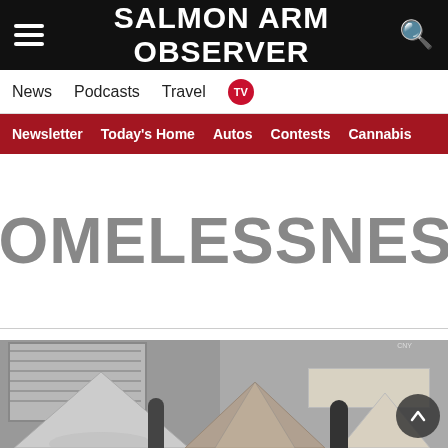SALMON ARM OBSERVER
News   Podcasts   Travel   TV
Newsletter   Today's Home   Autos   Contests   Cannabis
HOMELESSNESS
[Figure (photo): Street encampment scene with tents and people on an urban sidewalk near storefronts with shuttered windows and graffiti]